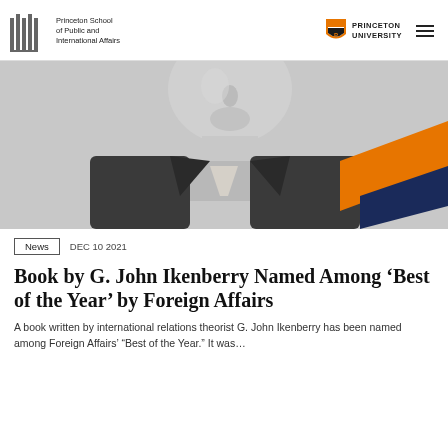Princeton School of Public and International Affairs | PRINCETON UNIVERSITY
[Figure (photo): Black and white headshot photo of G. John Ikenberry, showing his face and upper body in a suit, with orange and navy diagonal graphic elements in the background lower right.]
News  DEC 10 2021
Book by G. John Ikenberry Named Among ‘Best of the Year’ by Foreign Affairs
A book written by international relations theorist G. John Ikenberry has been named among Foreign Affairs’ “Best of the Year.” It was…